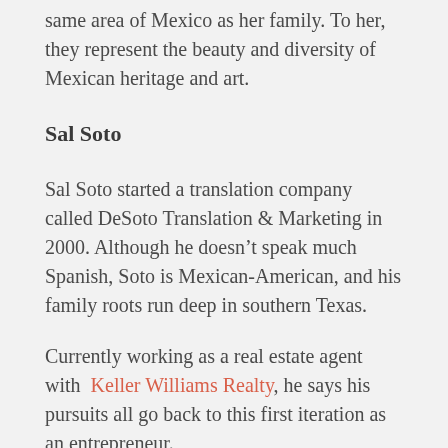same area of Mexico as her family. To her, they represent the beauty and diversity of Mexican heritage and art.
Sal Soto
Sal Soto started a translation company called DeSoto Translation & Marketing in 2000. Although he doesn't speak much Spanish, Soto is Mexican-American, and his family roots run deep in southern Texas.
Currently working as a real estate agent with Keller Williams Realty, he says his pursuits all go back to this first iteration as an entrepreneur.
“It all goes back to when first started...